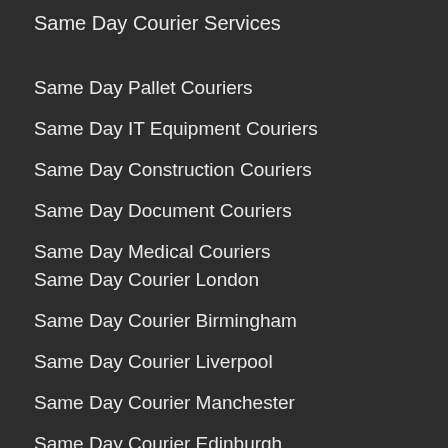Same Day Courier Services
Same Day Pallet Couriers
Same Day IT Equipment Couriers
Same Day Construction Couriers
Same Day Document Couriers
Same Day Medical Couriers
Same Day Courier London
Same Day Courier Birmingham
Same Day Courier Liverpool
Same Day Courier Manchester
Same Day Courier Edinburgh